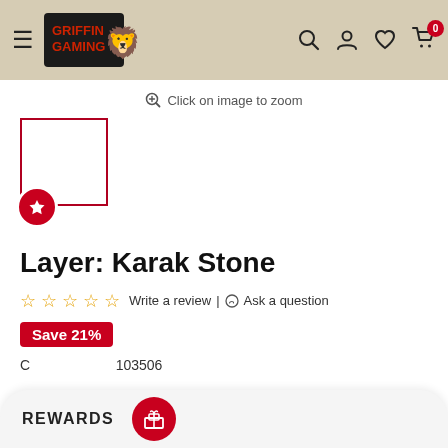Griffin Gaming — navigation header with logo, search, account, wishlist, and cart icons
Click on image to zoom
[Figure (screenshot): Product thumbnail placeholder box with red border, and a red circular wishlist/star button]
Layer: Karak Stone
★★★★★ Write a review | Ask a question
Save 21%
C... 103506
REWARDS